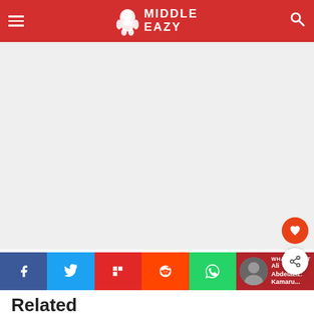Middle Easy
[Figure (other): Large blank content area (article image placeholder)]
[Figure (other): Social share bar with Facebook, Twitter, Flipboard, Reddit, WhatsApp buttons and What's Next card: Ali Abdelaziz: Kamaru...]
Related